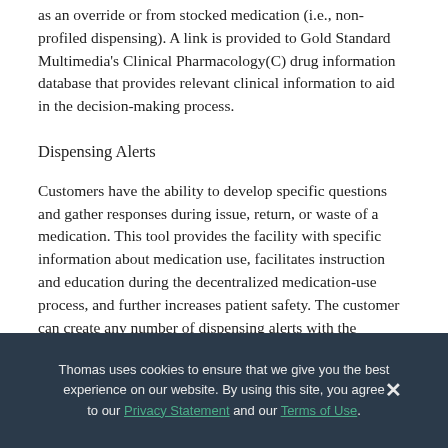as an override or from stocked medication (i.e., non-profiled dispensing). A link is provided to Gold Standard Multimedia's Clinical Pharmacology(C) drug information database that provides relevant clinical information to aid in the decision-making process.
Dispensing Alerts
Customers have the ability to develop specific questions and gather responses during issue, return, or waste of a medication. This tool provides the facility with specific information about medication use, facilitates instruction and education during the decentralized medication-use process, and further increases patient safety. The customer can create any number of dispensing alerts with the answers available as free text, pick the best answer, select multiple answers, or no
Thomas uses cookies to ensure that we give you the best experience on our website. By using this site, you agree to our Privacy Statement and our Terms of Use.